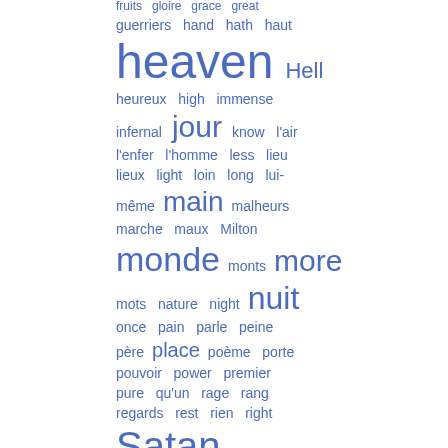[Figure (infographic): Word cloud in blue text showing vocabulary terms, partially visible on right side of page. Words vary in size indicating frequency. Visible words include: fruits, gloire, grace, great, guerriers, hand, hath, haut, heaven (large), Hell, heureux, high, immense, infernal, jour (large), know, l'air, l'enfer, l'homme, less, lieu, lieux, light, loin, long, lui-même, main (large), malheurs, marche, maux, Milton, monde (large), monts, more (large), mots, nature, night, nuit (large), once, pain, parle, peine, père, place, poème, porte, pouvoir, power, premier, pure, qu'un, rage, rang, regards, rest, rien, right, Satan (large), seest, séjour, seul (large), soon, sort, stood]